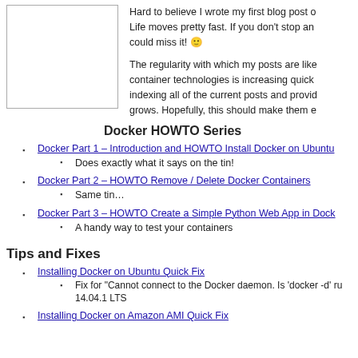[Figure (other): Blank white image placeholder with border]
Hard to believe I wrote my first blog post o... Life moves pretty fast. If you don't stop an... could miss it! 🙂
The regularity with which my posts are like... container technologies is increasing quick... indexing all of the current posts and provid... grows. Hopefully, this should make them e...
Docker HOWTO Series
Docker Part 1 – Introduction and HOWTO Install Docker on Ubuntu
Does exactly what it says on the tin!
Docker Part 2 – HOWTO Remove / Delete Docker Containers
Same tin…
Docker Part 3 – HOWTO Create a Simple Python Web App in Dock...
A handy way to test your containers
Tips and Fixes
Installing Docker on Ubuntu Quick Fix
Fix for "Cannot connect to the Docker daemon. Is 'docker -d' ru... 14.04.1 LTS
Installing Docker on Amazon AMI Quick Fix